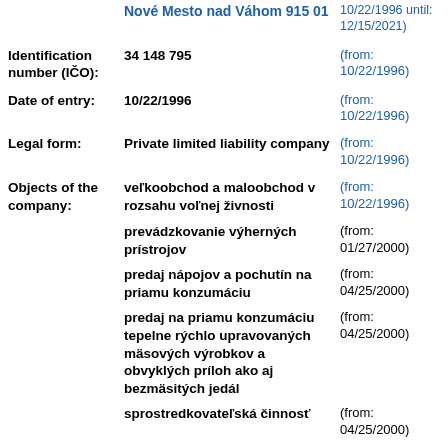Nové Mesto nad Váhom 915 01 (from: 10/22/1996 until: 12/15/2021)
Identification number (IČO): 34 148 795 (from: 10/22/1996)
Date of entry: 10/22/1996 (from: 10/22/1996)
Legal form: Private limited liability company (from: 10/22/1996)
Objects of the company: veľkoobchod a maloobchod v rozsahu voľnej živnosti (from: 10/22/1996)
prevádzkovanie výherných prístrojov (from: 01/27/2000)
predaj nápojov a pochutín na priamu konzumáciu (from: 04/25/2000)
predaj na priamu konzumáciu tepelne rýchlo upravovaných mäsových výrobkov a obvyklých príloh ako aj bezmäsitých jedál (from: 04/25/2000)
sprostredkovateľská činnosť (from: 04/25/2000)
reklamné a propagačné činnosti (from: 04/25/2000)
sekretárske služby (from: ...)